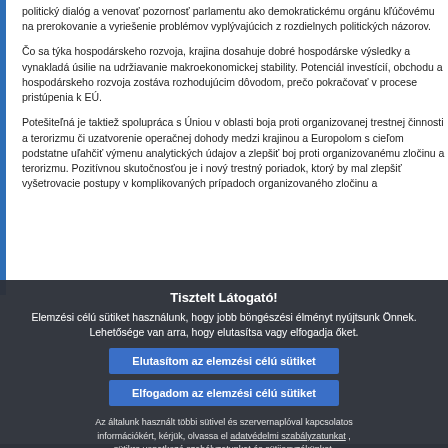politický dialóg a venovať pozornosť parlamentu ako demokratickému orgánu kľúčovému na prerokovanie a vyriešenie problémov vyplývajúcich z rozdielnych politických názorov.
Čo sa týka hospodárskeho rozvoja, krajina dosahuje dobré hospodárske výsledky a vynakladá úsilie na udržiavanie makroekonomickej stability. Potenciál investícií, obchodu a hospodárskeho rozvoja zostáva rozhodujúcim dôvodom, prečo pokračovať v procese pristúpenia k EÚ.
Potešiteľná je taktiež spolupráca s Úniou v oblasti boja proti organizovanej trestnej činnosti a terorizmu či uzatvorenie operačnej dohody medzi krajinou a Europolom s cieľom podstatne uľahčiť výmenu analytických údajov a zlepšiť boj proti organizovanému zločinu a terorizmu. Pozitívnou skutočnosťou je i nový trestný poriadok, ktorý by mal zlepšiť vyšetrovacie postupy v komplikovaných prípadoch organizovaného zločinu a
Tisztelt Látogató!
Elemzési célú sütiket használunk, hogy jobb böngészési élményt nyújtsunk Önnek. Lehetősége van arra, hogy elutasítsa vagy elfogadja őket.
Elutasítom az elemzési célú sütiket
Elfogadom az elemzési célú sütiket
Az általunk használt többi sütivel és szervernaplóval kapcsolatos információkért, kérjük, olvassa el adatvédelmi szabályzatunkat , sütikre vonatkozó szabályzatunkat és sütijegyzékünket.